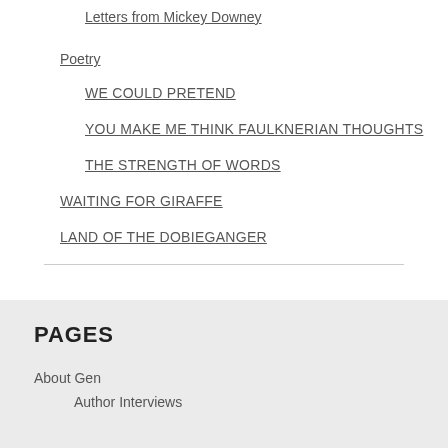Letters from Mickey Downey
Poetry
WE COULD PRETEND
YOU MAKE ME THINK FAULKNERIAN THOUGHTS
THE STRENGTH OF WORDS
WAITING FOR GIRAFFE
LAND OF THE DOBIEGANGER
PAGES
About Gen
Author Interviews